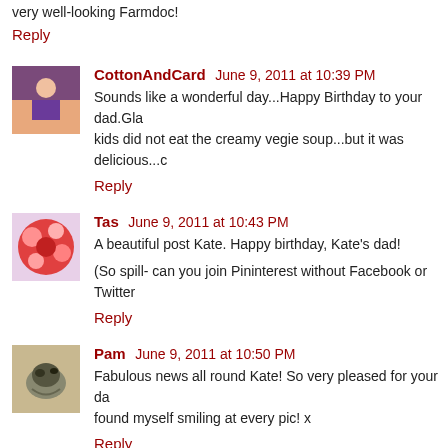very well-looking Farmdoc!
Reply
CottonAndCard  June 9, 2011 at 10:39 PM
Sounds like a wonderful day...Happy Birthday to your dad. Glad the kids did not eat the creamy vegie soup...but it was delicious...
Reply
Tas  June 9, 2011 at 10:43 PM
A beautiful post Kate. Happy birthday, Kate's dad!
(So spill- can you join Pininterest without Facebook or Twitter
Reply
Pam  June 9, 2011 at 10:50 PM
Fabulous news all round Kate! So very pleased for your da... found myself smiling at every pic! x
Reply